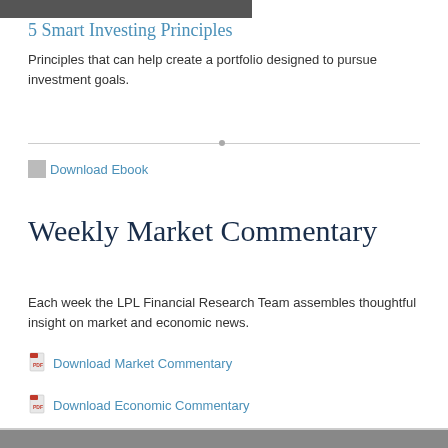[Figure (photo): Partial image at top of page, cropped]
5 Smart Investing Principles
Principles that can help create a portfolio designed to pursue investment goals.
Download Ebook
Weekly Market Commentary
Each week the LPL Financial Research Team assembles thoughtful insight on market and economic news.
Download Market Commentary
Download Economic Commentary